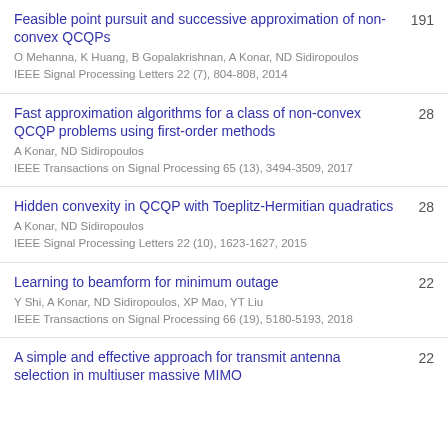Feasible point pursuit and successive approximation of non-convex QCQPs | O Mehanna, K Huang, B Gopalakrishnan, A Konar, ND Sidiropoulos | IEEE Signal Processing Letters 22 (7), 804-808, 2014 | 191
Fast approximation algorithms for a class of non-convex QCQP problems using first-order methods | A Konar, ND Sidiropoulos | IEEE Transactions on Signal Processing 65 (13), 3494-3509, 2017 | 28
Hidden convexity in QCQP with Toeplitz-Hermitian quadratics | A Konar, ND Sidiropoulos | IEEE Signal Processing Letters 22 (10), 1623-1627, 2015 | 28
Learning to beamform for minimum outage | Y Shi, A Konar, ND Sidiropoulos, XP Mao, YT Liu | IEEE Transactions on Signal Processing 66 (19), 5180-5193, 2018 | 22
A simple and effective approach for transmit antenna selection in multiuser massive MIMO | 22